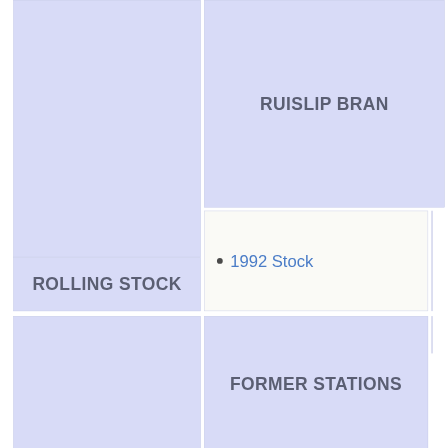[Figure (other): Top-left blue cell (empty content area, part of a structured table/grid layout)]
[Figure (other): Top-right blue cell labeled RUISLIP BRAN (branch name truncated)]
ROLLING STOCK
1992 Stock
[Figure (other): Bottom-left blue cell (empty content area)]
FORMER STATIONS